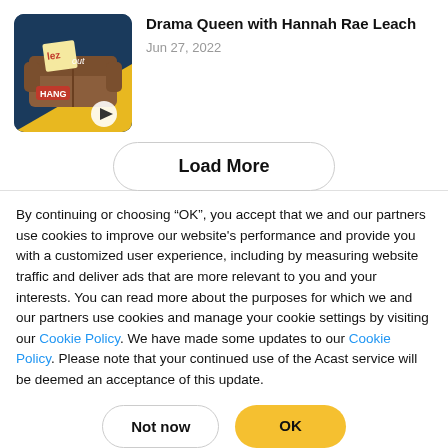[Figure (illustration): Podcast thumbnail image for 'Lez Hang Out' showing a cartoon couch with text, blue and yellow background with a play button overlay]
Drama Queen with Hannah Rae Leach
Jun 27, 2022
Load More
By continuing or choosing “OK”, you accept that we and our partners use cookies to improve our website's performance and provide you with a customized user experience, including by measuring website traffic and deliver ads that are more relevant to you and your interests. You can read more about the purposes for which we and our partners use cookies and manage your cookie settings by visiting our Cookie Policy. We have made some updates to our Cookie Policy. Please note that your continued use of the Acast service will be deemed an acceptance of this update.
Not now
OK